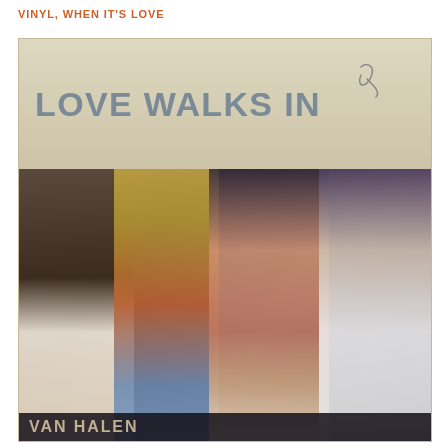VINYL, WHEN IT'S LOVE
[Figure (photo): Van Halen single cover for 'Love Walks In' showing four band members posing together — a photo of the vinyl record sleeve. The top portion has a beige/cream background with block letters reading 'LOVE WALKS IN' and a handwritten signature. The lower portion shows four men posing casually: one with dark hair on the left, one with curly blond hair, one shirtless wearing sunglasses and a cross necklace, and one on the right in a graphic t-shirt. At the bottom of the image, partially cut off text reads 'VAN HALEN'.]